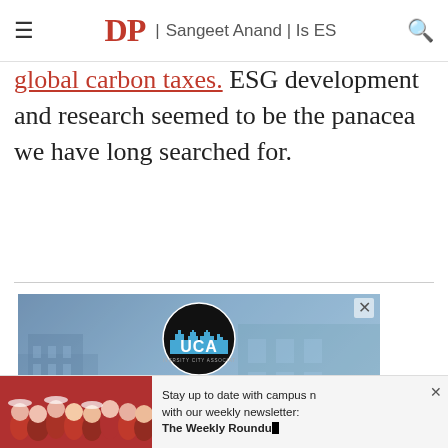DP | Sangeet Anand | Is ES
global carbon taxes. ESG development and research seemed to be the panacea we have long searched for.
[Figure (photo): UCA (University City Associates) advertisement showing a building in a blue-tinted overlay with circular UCA logo and text 'DO YOU WANT FREE RENT?']
[Figure (photo): Bottom banner advertisement with crowd photo and newsletter signup text: 'Stay up to date with campus news with our weekly newsletter: The Weekly Roundup']